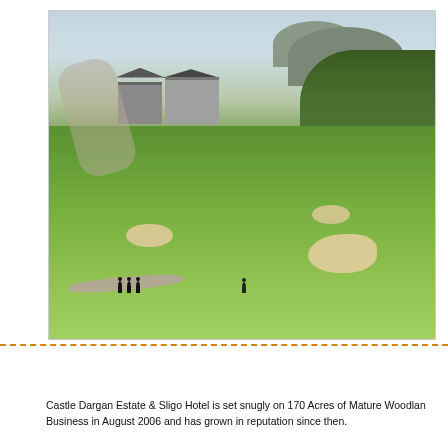[Figure (photo): Aerial view of Castle Dargan Estate golf course with green fairways, sand bunkers, winding paths, golf club buildings in the middle distance, and mountains and forest in the background under a hazy sky.]
Castle Dargan Estate & Sligo Hotel is set snugly on 170 Acres of Mature Woodland Business in August 2006 and has grown in reputation since then.